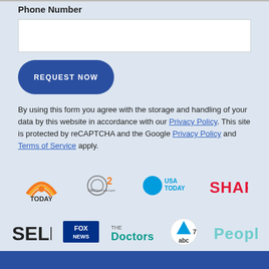Phone Number
By using this form you agree with the storage and handling of your data by this website in accordance with our Privacy Policy. This site is protected by reCAPTCHA and the Google Privacy Policy and Terms of Service apply.
[Figure (logo): Media brand logos: TODAY, CBS2 CBSNewYork.com, USA TODAY, SHAPE, SELF, FOX NEWS, The Doctors, ABC7, People]